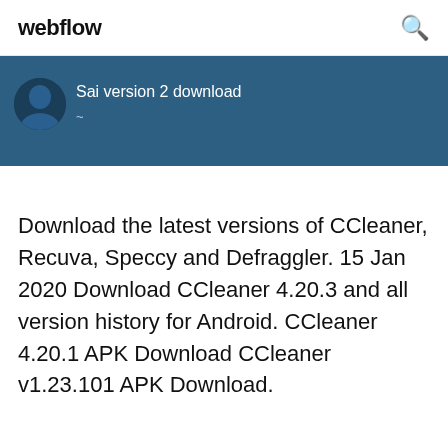webflow
Sai version 2 download
Download the latest versions of CCleaner, Recuva, Speccy and Defraggler. 15 Jan 2020 Download CCleaner 4.20.3 and all version history for Android. CCleaner 4.20.1 APK Download CCleaner v1.23.101 APK Download.